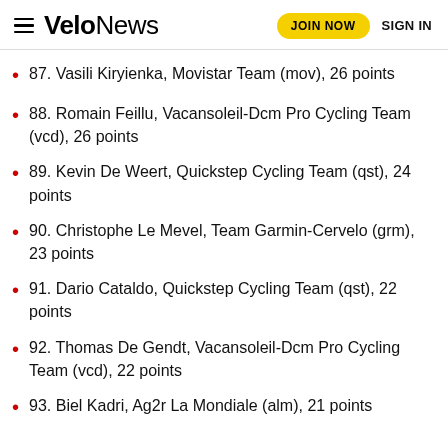VeloNews — JOIN NOW  SIGN IN
87. Vasili Kiryienka, Movistar Team (mov), 26 points
88. Romain Feillu, Vacansoleil-Dcm Pro Cycling Team (vcd), 26 points
89. Kevin De Weert, Quickstep Cycling Team (qst), 24 points
90. Christophe Le Mevel, Team Garmin-Cervelo (grm), 23 points
91. Dario Cataldo, Quickstep Cycling Team (qst), 22 points
92. Thomas De Gendt, Vacansoleil-Dcm Pro Cycling Team (vcd), 22 points
93. Biel Kadri, Ag2r La Mondiale (alm), 21 points